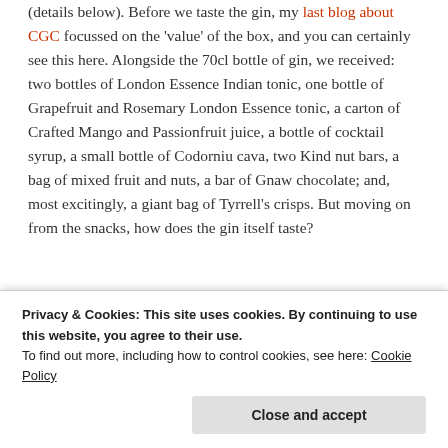(details below). Before we taste the gin, my last blog about CGC focussed on the 'value' of the box, and you can certainly see this here. Alongside the 70cl bottle of gin, we received: two bottles of London Essence Indian tonic, one bottle of Grapefruit and Rosemary London Essence tonic, a carton of Crafted Mango and Passionfruit juice, a bottle of cocktail syrup, a small bottle of Codorniu cava, two Kind nut bars, a bag of mixed fruit and nuts, a bar of Gnaw chocolate; and, most excitingly, a giant bag of Tyrrell's crisps. But moving on from the snacks, how does the gin itself taste?
[Figure (photo): Partially visible photograph of a gin bottle and related items, cropped at the bottom of the page]
Opening my bottle
Privacy & Cookies: This site uses cookies. By continuing to use this website, you agree to their use. To find out more, including how to control cookies, see here: Cookie Policy